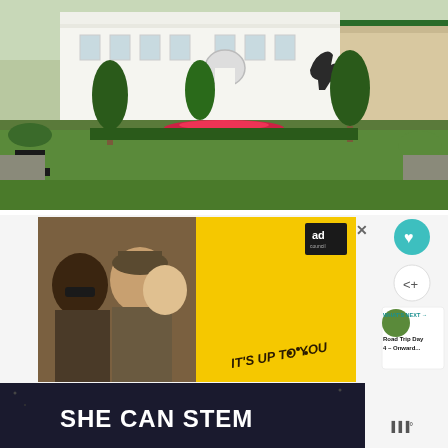[Figure (photo): Exterior photo of a large white colonial-style building (horse racing venue/clubhouse) with manicured gardens, topiary trees, flower beds, brick pathway, and a black horse statue in the background.]
[Figure (screenshot): Webpage screenshot showing an advertisement with people laughing, Ad Council badge, yellow background with 'IT'S UP TO YOU' text, a SHE CAN STEM banner at the bottom, a What's Next panel showing 'Road Trip Day 4 – Onward...', and social media heart and share icons.]
WHAT'S NEXT →
Road Trip Day 4 – Onward...
SHE CAN STEM